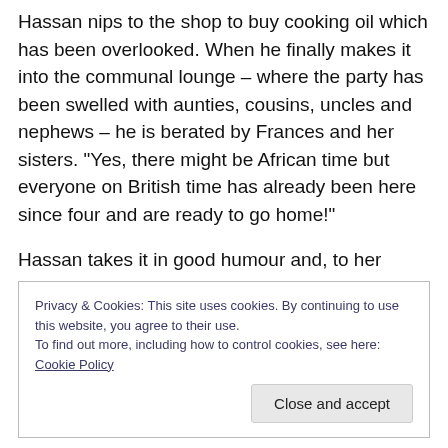Hassan nips to the shop to buy cooking oil which has been overlooked. When he finally makes it into the communal lounge – where the party has been swelled with aunties, cousins, uncles and nephews – he is berated by Frances and her sisters. “Yes, there might be African time but everyone on British time has already been here since four and are ready to go home!”
Hassan takes it in good humour and, to her credit, Frances moves on. At this point in a stressful evening other couples might have gone off on one but Frances
Privacy & Cookies: This site uses cookies. By continuing to use this website, you agree to their use.
To find out more, including how to control cookies, see here: Cookie Policy
Close and accept